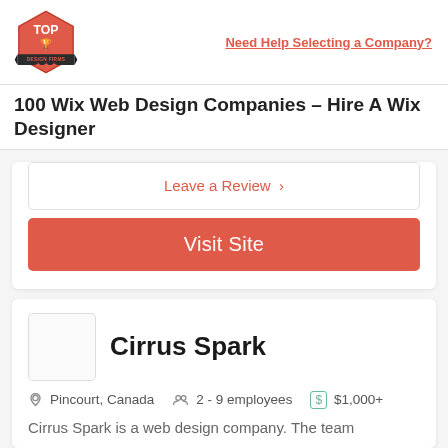Need Help Selecting a Company?
100 Wix Web Design Companies – Hire A Wix Designer
Leave a Review >
Visit Site
Cirrus Spark
Pincourt, Canada   2 - 9 employees   $1,000+
Cirrus Spark is a web design company. The team